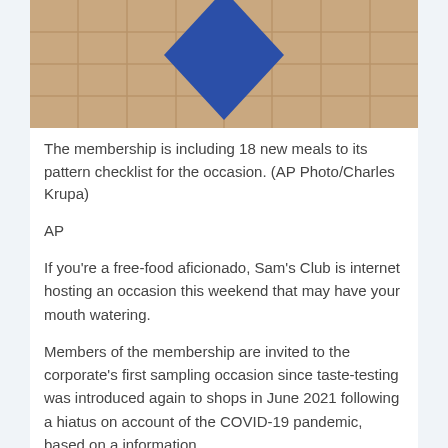[Figure (photo): Sam's Club store exterior showing brown tile wall with blue diamond logo partially visible at top]
The membership is including 18 new meals to its pattern checklist for the occasion. (AP Photo/Charles Krupa)
AP
If you're a free-food aficionado, Sam's Club is internet hosting an occasion this weekend that may have your mouth watering.
Members of the membership are invited to the corporate's first sampling occasion since taste-testing was introduced again to shops in June 2021 following a hiatus on account of the COVID-19 pandemic, based on a information